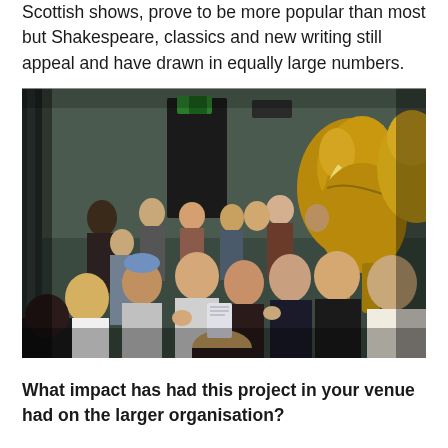Scottish shows, prove to be more popular than most but Shakespeare, classics and new writing still appeal and have drawn in equally large numbers.
[Figure (photo): A large group of young students and adults gathered together in a theatre or museum foyer, laughing and talking animatedly. In the background there are large golden elephant sculptures and a dark doorway with green exit signage.]
What impact has had this project in your venue had on the larger organisation?